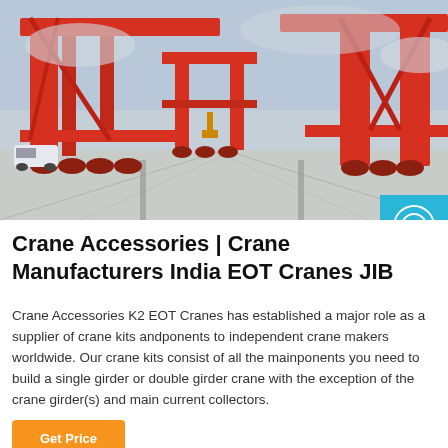[Figure (photo): Industrial red gantry cranes at a port facility, viewed from ground level with large red steel crane structures against a cloudy sky. A chat badge overlay appears in the bottom-right corner of the image with 'Free Chat' text.]
Crane Accessories | Crane Manufacturers India EOT Cranes JIB
Crane Accessories K2 EOT Cranes has established a major role as a supplier of crane kits andponents to independent crane makers worldwide. Our crane kits consist of all the mainponents you need to build a single girder or double girder crane with the exception of the crane girder(s) and main current collectors.